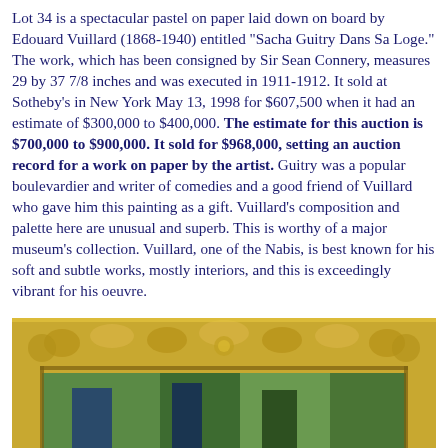Lot 34 is a spectacular pastel on paper laid down on board by Edouard Vuillard (1868-1940) entitled "Sacha Guitry Dans Sa Loge." The work, which has been consigned by Sir Sean Connery, measures 29 by 37 7/8 inches and was executed in 1911-1912. It sold at Sotheby's in New York May 13, 1998 for $607,500 when it had an estimate of $300,000 to $400,000. The estimate for this auction is $700,000 to $900,000. It sold for $968,000, setting an auction record for a work on paper by the artist. Guitry was a popular boulevardier and writer of comedies and a good friend of Vuillard who gave him this painting as a gift. Vuillard's composition and palette here are unusual and superb. This is worthy of a major museum's collection. Vuillard, one of the Nabis, is best known for his soft and subtle works, mostly interiors, and this is exceedingly vibrant for his oeuvre.
[Figure (photo): Partial view of a painting in an ornate gilded gold frame, showing colorful artwork (greens and blues visible) beneath the decorative carved frame top.]